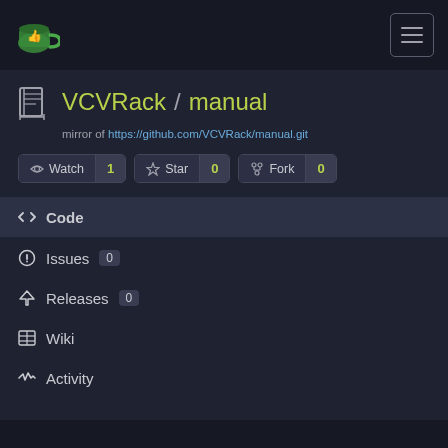Gitea navigation bar with logo and hamburger menu
VCVRack / manual
mirror of https://github.com/VCVRack/manual.git
Watch 1  Star 0  Fork 0
Code
Issues 0
Releases 0
Wiki
Activity